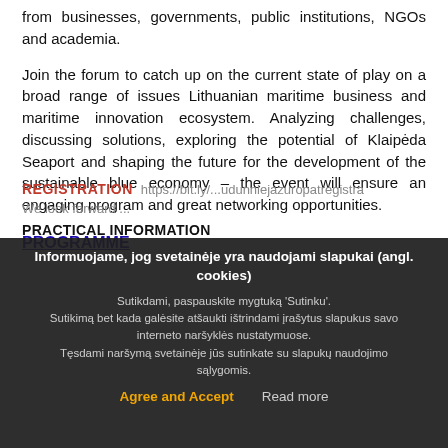from businesses, governments, public institutions, NGOs and academia.
Join the forum to catch up on the current state of play on a broad range of issues Lithuanian maritime business and maritime innovation ecosystem. Analyzing challenges, discussing solutions, exploring the potential of Klaipėda Seaport and shaping the future for the development of the sustainable blue economy – the event will ensure an engaging program and great networking opportunities.
PROGRAMME
REGISTRATION  https://bit.ly/...udunniejazuropatregistra
We look forward ...
PRACTICAL INFORMATION
Informuojame, jog svetainėje yra naudojami slapukai (angl. cookies)

Sutikdami, paspauskite mygtuką 'Sutinku'.
Sutikimą bet kada galėsite atšaukti ištrindami įrašytus slapukus savo interneto naršyklės nustatymuose.
Tęsdami naršymą svetainėje jūs sutinkate su slapukų naudojimo sąlygomis.

Agree and Accept    Read more